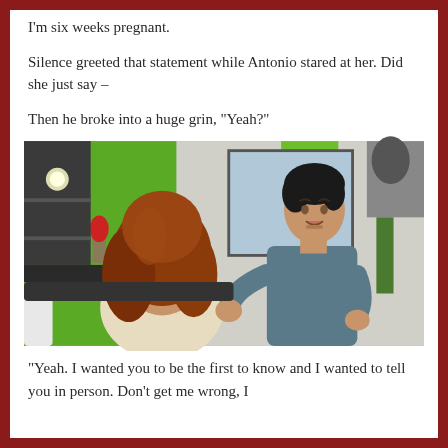I'm six weeks pregnant.
Silence greeted that statement while Antonio stared at her. Did she just say –
Then he broke into a huge grin, “Yeah?”
[Figure (screenshot): A screenshot from The Sims video game showing two animated characters: a woman with long red/auburn hair wearing a cream cardigan seen from behind, and a man with dark hair wearing a gray-blue top, gesturing with his hands in a room with green curtains, gray wallpaper, and a lamp.]
“Yeah. I wanted you to be the first to know and I wanted to tell you in person. Don’t get me wrong, I